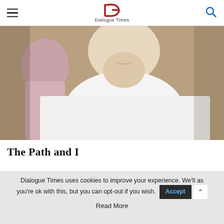Dialogue Times
[Figure (photo): Cropped photo of an elderly person wearing a white shalwar kameez, smiling, with another person in a light pink shirt visible in the background.]
The Path and I
[Figure (other): Gray placeholder/advertisement block]
Dialogue Times uses cookies to improve your experience. We'll as you're ok with this, but you can opt-out if you wish.
Read More